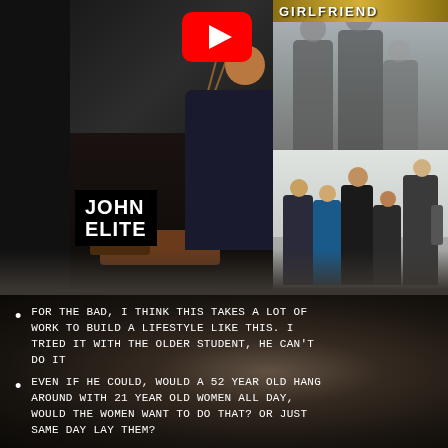[Figure (screenshot): YouTube video thumbnail collage showing: left side - person eating at restaurant with 'JOHN ELITE' label; center - YouTube play button overlay; top right - blurred person walking; bottom right - group of women in a mall/airport. 'GIRLFRIEND' text in gold banner top right.]
FOR THE BAD, I THINK THIS TAKES A LOT OF WORK TO BUILD A LIFESTYLE LIKE THIS. I TRIED IT WITH THE OLDER STUDENT, HE CAN'T DO IT
EVEN IF HE COULD, WOULD A 52 YEAR OLD HANG AROUND WITH 21 YEAR OLD WOMEN ALL DAY, WOULD THE WOMEN WANT TO DO THAT? OR JUST SAME DAY LAY THEM?